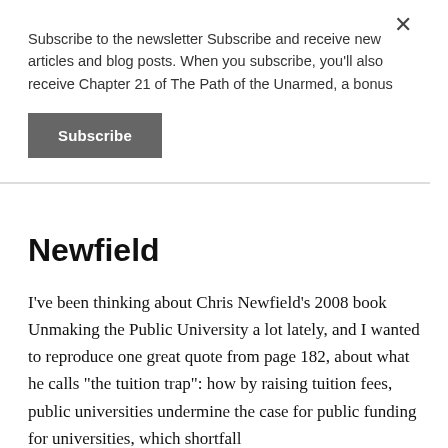Subscribe to the newsletter Subscribe and receive new articles and blog posts. When you subscribe, you'll also receive Chapter 21 of The Path of the Unarmed, a bonus
Subscribe
Newfield
I've been thinking about Chris Newfield's 2008 book Unmaking the Public University a lot lately, and I wanted to reproduce one great quote from page 182, about what he calls "the tuition trap": how by raising tuition fees, public universities undermine the case for public funding for universities, which shortfall